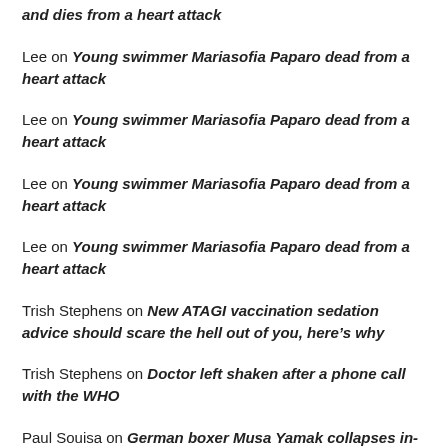and dies from a heart attack
Lee on Young swimmer Mariasofia Paparo dead from a heart attack
Lee on Young swimmer Mariasofia Paparo dead from a heart attack
Lee on Young swimmer Mariasofia Paparo dead from a heart attack
Lee on Young swimmer Mariasofia Paparo dead from a heart attack
Trish Stephens on New ATAGI vaccination sedation advice should scare the hell out of you, here’s why
Trish Stephens on Doctor left shaken after a phone call with the WHO
Paul Souisa on German boxer Musa Yamak collapses in-ring and dies from a heart attack
Rose on Woman erupts as man in ‘fetish gear’ plays in Lego pit